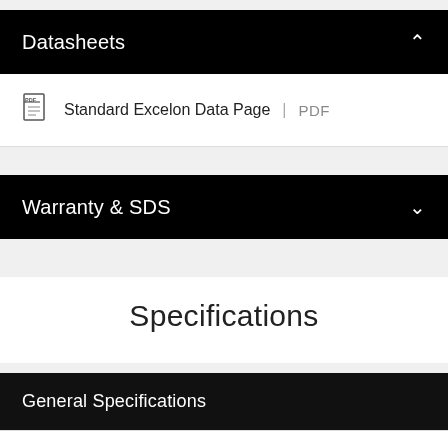Datasheets
Standard Excelon Data Page | PDF
Warranty & SDS
Specifications
|  |  |
| --- | --- |
| ITEM NUMBER | 51899 |